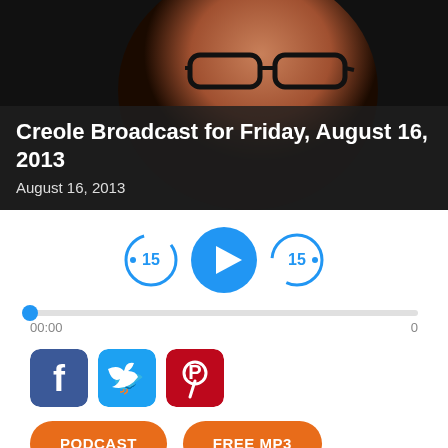[Figure (photo): Close-up photo of an older man wearing dark-rimmed glasses, smiling slightly, dark background]
Creole Broadcast for Friday, August 16, 2013
August 16, 2013
[Figure (infographic): Audio player controls: rewind 15 seconds button, play button, forward 15 seconds button, progress bar showing 00:00, social share icons for Facebook, Twitter, Pinterest, and buttons for PODCAST and FREE MP3]